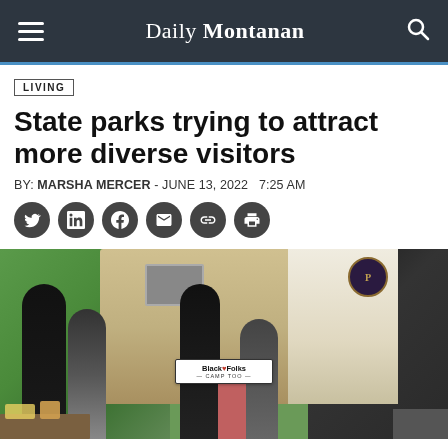Daily Montanan
LIVING
State parks trying to attract more diverse visitors
BY: MARSHA MERCER - JUNE 13, 2022   7:25 AM
[Figure (photo): Group of Black people posing in front of RVs at a campsite, holding a 'Black Folks Camp Too' sign]
Black Folks Camp Too